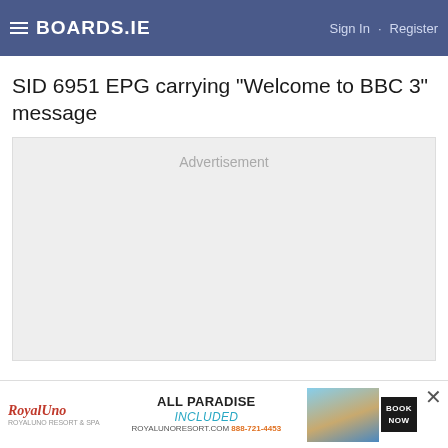BOARDS.IE  Sign In · Register
SID 6951 EPG carrying "Welcome to BBC 3" message
[Figure (other): Advertisement placeholder box with light grey background]
[Figure (other): Bottom banner advertisement for RoyalUno resort: ALL PARADISE INCLUDED, ROYALUNORESORT.COM 888-721-4453, BOOK NOW]